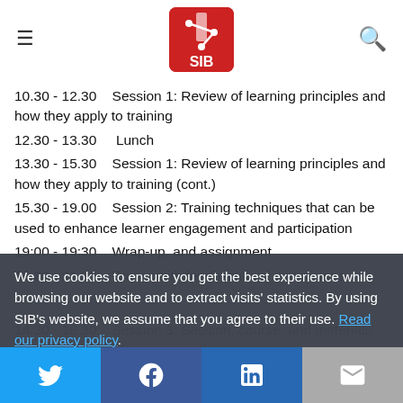SIB website header with hamburger menu, SIB logo, and search icon
10.30 - 12.30    Session 1: Review of learning principles and how they apply to training
12.30 - 13.30    Lunch
13.30 - 15.30    Session 1: Review of learning principles and how they apply to training (cont.)
15.30 - 19.00    Session 2: Training techniques that can be used to enhance learner engagement and participation
19:00 - 19:30    Wrap-up, and assignment
19.30 - 21.30    Dinner with feedback and discussions
We use cookies to ensure you get the best experience while browsing our website and to extract visits' statistics. By using SIB's website, we assume that you agree to their use. Read our privacy policy.
14.30 - 18.30    Session 3: Session, course, and materials design
Social sharing buttons: Twitter, Facebook, LinkedIn, Email